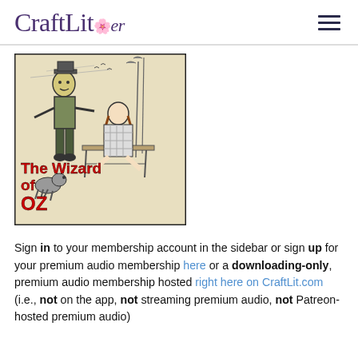CraftLit [logo with decorative flourish] [hamburger menu icon]
[Figure (illustration): Book cover for The Wizard of Oz showing a scarecrow figure standing and a girl sitting on a bench, with a small dog. Red bold text reads 'The Wizard of Oz' at bottom left and 'craftlit.com/oz' vertically on the right side. Illustrated in black and white pen-and-ink style on aged paper background.]
Sign in to your membership account in the sidebar or sign up for your premium audio membership here or a downloading-only, premium audio membership hosted right here on CraftLit.com (i.e., not on the app, not streaming premium audio, not Patreon-hosted premium audio)